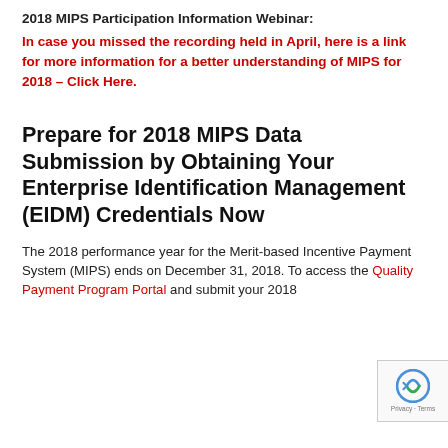2018 MIPS Participation Information Webinar:
In case you missed the recording held in April, here is a link for more information for a better understanding of MIPS for 2018 – Click Here.
Prepare for 2018 MIPS Data Submission by Obtaining Your Enterprise Identification Management (EIDM) Credentials Now
The 2018 performance year for the Merit-based Incentive Payment System (MIPS) ends on December 31, 2018. To access the Quality Payment Program Portal and submit your 2018…